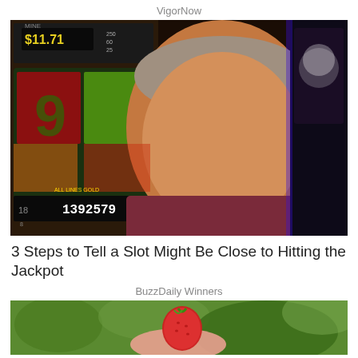VigorNow
[Figure (photo): An older smiling man with gray hair wearing a dark red shirt, standing in front of casino slot machines showing $11.71 credit and 1392579 score.]
3 Steps to Tell a Slot Might Be Close to Hitting the Jackpot
BuzzDaily Winners
[Figure (photo): Close-up of a hand holding a red berry or strawberry against a green leafy background.]